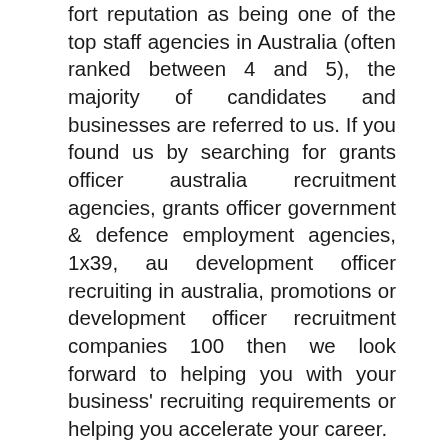fort reputation as being one of the top staff agencies in Australia (often ranked between 4 and 5), the majority of candidates and businesses are referred to us. If you found us by searching for grants officer australia recruitment agencies, grants officer government & defence employment agencies, 1x39, au development officer recruiting in australia, promotions or development officer recruitment companies 100 then we look forward to helping you with your business' recruiting requirements or helping you accelerate your career.
For more Promo Staffing Career Advice see below additional resources to find the perfect job:
Your Job Hunting Checklist
5 Reasons For Leaving